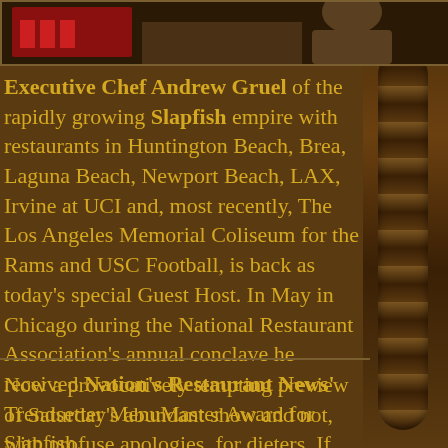[Figure (photo): Photo of Executive Chef Andrew Gruel, partially visible at top of page with dark/brown toned background]
Executive Chef Andrew Gruel of the rapidly growing Slapfish empire with restaurants in Huntington Beach, Brea, Laguna Beach, Newport Beach, LAX, Irvine at UCI and, most recently, The Los Angeles Memorial Coliseum for the Rams and USC Football, is back as today's special Guest Host. In May in Chicago during the National Restaurant Association's annual conclave he received Nation's Restaurant News' Trendsetter MenuMaster Award for Slapfish.
Now a provocatively tempting preview of Saturday's abundant show and not, with profuse apologies, for dieters. If we're successful we